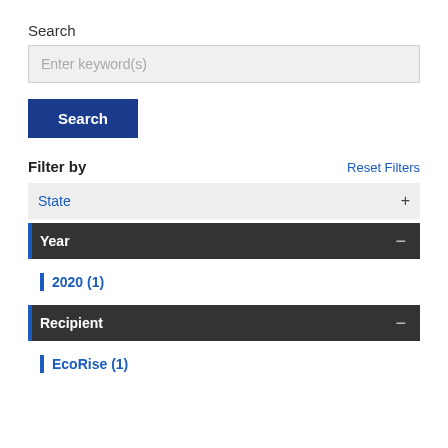Search
[Figure (screenshot): Search input field with placeholder text 'Enter keyword(s)']
[Figure (screenshot): Blue Search button]
Filter by
Reset Filters
State +
Year -
2020 (1)
Recipient -
EcoRise (1)